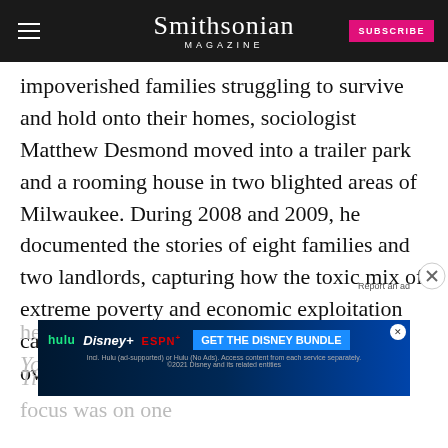Smithsonian MAGAZINE
impoverished families struggling to survive and hold onto their homes, sociologist Matthew Desmond moved into a trailer park and a rooming house in two blighted areas of Milwaukee. During 2008 and 2009, he documented the stories of eight families and two landlords, capturing how the toxic mix of extreme poverty and economic exploitation can leave individuals unable to keep a roof over their heads. The result, a widely acclaimed New York Times … in the American City. While his focus was on one
[Figure (other): Disney Bundle advertisement banner showing Hulu, Disney+, ESPN+ logos with CTA 'GET THE DISNEY BUNDLE']